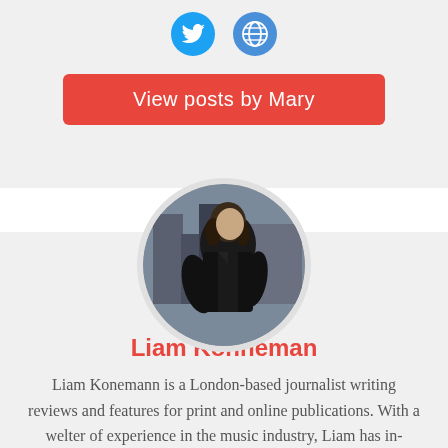[Figure (illustration): Social media icons: Twitter bird icon (blue) and globe/website icon (blue)]
View posts by Mary
[Figure (photo): Circular profile photo of Liam Konneman, a young man with dark hair wearing a black leather jacket, seated outdoors in what appears to be a city setting]
Liam Konneman
Liam Konemann is a London-based journalist writing reviews and features for print and online publications. With a welter of experience in the music industry, Liam has in-depth knowledge of